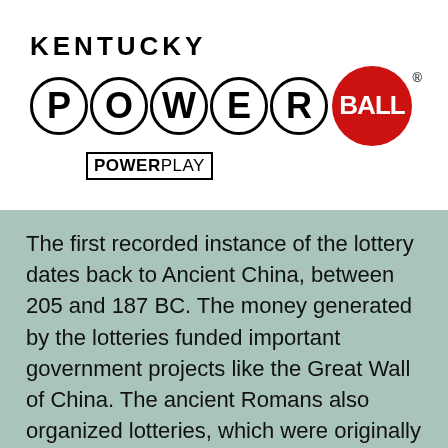[Figure (logo): Kentucky Powerball logo with PowerPlay text. Shows 'KENTUCKY' text above five large circled letters spelling P-O-W-E-R followed by a red circle with BALL in white. Below is a box reading POWERBALL POWERPLAY.]
The first recorded instance of the lottery dates back to Ancient China, between 205 and 187 BC. The money generated by the lotteries funded important government projects like the Great Wall of China. The ancient Romans also organized lotteries, which were originally meant to entertain guests during dinner